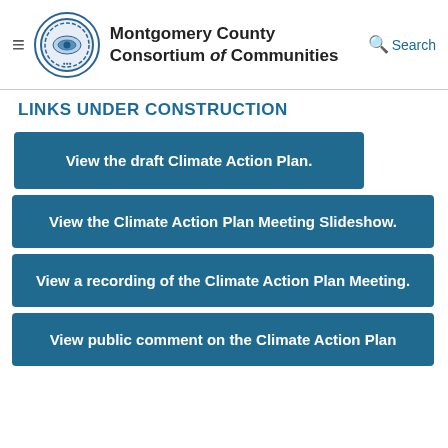Montgomery County Consortium of Communities | Search
LINKS UNDER CONSTRUCTION
View the draft Climate Action Plan.
View the Climate Action Plan Meeting Slideshow.
View a recording of the Climate Action Plan Meeting.
View public comment on the Climate Action Plan